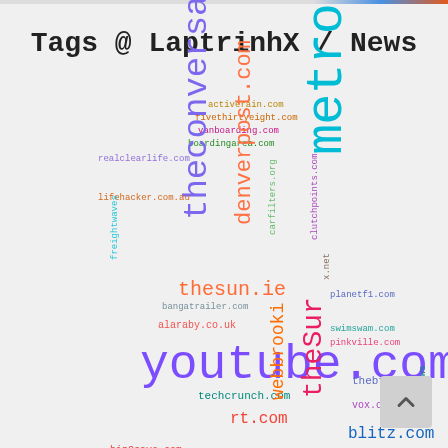Tags @ LaptrinhX / News
[Figure (infographic): Word cloud of news source domain names in various colors and sizes, with youtube.com being the largest, followed by metro.co.uk, theconversation.com, denverpost.com, and thesun.ie among others.]